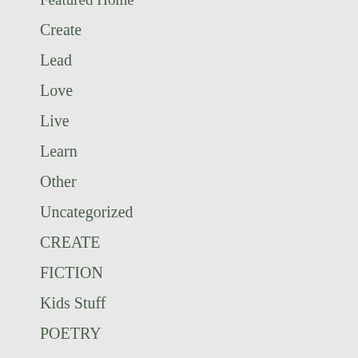Featured Home
Create
Lead
Love
Live
Learn
Other
Uncategorized
CREATE
FICTION
Kids Stuff
POETRY
LEAD